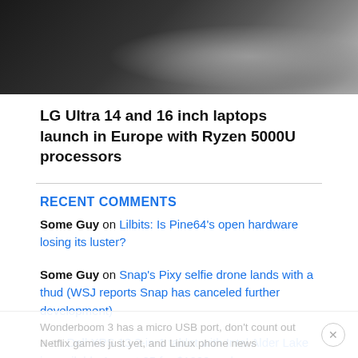[Figure (photo): Dark background photo showing a laptop/tablet device at an angle on a dark surface]
LG Ultra 14 and 16 inch laptops launch in Europe with Ryzen 5000U processors
RECENT COMMENTS
Some Guy on Lilbits: Is Pine64's open hardware losing its luster?
Some Guy on Snap's Pixy selfie drone lands with a thud (WSJ reports Snap has canceled further development)
a on Dell XPS 13 2-in-1 tablet with Intel Alder Lake is available August 25 for $1099 and up
Some Guy on Lilbits: iPhone 14 announcement imminent, UE Wonderboom 3 has a micro USB port, don't count out Netflix games just yet, and Linux phone news